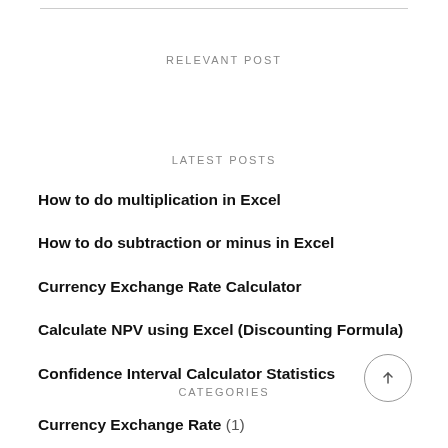RELEVANT POST
LATEST POSTS
How to do multiplication in Excel
How to do subtraction or minus in Excel
Currency Exchange Rate Calculator
Calculate NPV using Excel (Discounting Formula)
Confidence Interval Calculator Statistics
CATEGORIES
Currency Exchange Rate (1)